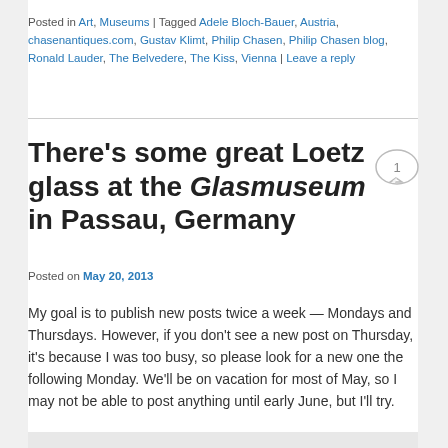Posted in Art, Museums | Tagged Adele Bloch-Bauer, Austria, chasenantiques.com, Gustav Klimt, Philip Chasen, Philip Chasen blog, Ronald Lauder, The Belvedere, The Kiss, Vienna | Leave a reply
There’s some great Loetz glass at the Glasmuseum in Passau, Germany
Posted on May 20, 2013
My goal is to publish new posts twice a week — Mondays and Thursdays. However, if you don’t see a new post on Thursday, it’s because I was too busy, so please look for a new one the following Monday. We’ll be on vacation for most of May, so I may not be able to post anything until early June, but I’ll try.